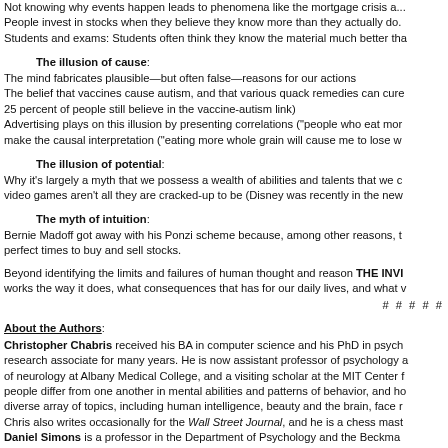Not knowing why events happen leads to phenomena like the mortgage crisis...
People invest in stocks when they believe they know more than they actually do.
Students and exams: Students often think they know the material much better tha...
The illusion of cause:
The mind fabricates plausible—but often false—reasons for our actions
The belief that vaccines cause autism, and that various quack remedies can cure...
25 percent of people still believe in the vaccine-autism link)
Advertising plays on this illusion by presenting correlations ("people who eat more...
make the causal interpretation ("eating more whole grain will cause me to lose w...
The illusion of potential:
Why it's largely a myth that we possess a wealth of abilities and talents that we c...
video games aren't all they are cracked-up to be (Disney was recently in the new...
The myth of intuition:
Bernie Madoff got away with his Ponzi scheme because, among other reasons, t...
perfect times to buy and sell stocks.
Beyond identifying the limits and failures of human thought and reason THE INVI...
works the way it does, what consequences that has for our daily lives, and what v...
# # # # #
About the Authors:
Christopher Chabris received his BA in computer science and his PhD in psych...
research associate for many years. He is now assistant professor of psychology a...
of neurology at Albany Medical College, and a visiting scholar at the MIT Center f...
people differ from one another in mental abilities and patterns of behavior, and ho...
diverse array of topics, including human intelligence, beauty and the brain, face r...
Chris also writes occasionally for the Wall Street Journal, and he is a chess mast...
Daniel Simons is a professor in the Department of Psychology and the Beckma...
psychology and cognitive science from Carleton College and his PhD in experime...
the faculty at Harvard University before moving to Illinois in 2002. His scholarly...